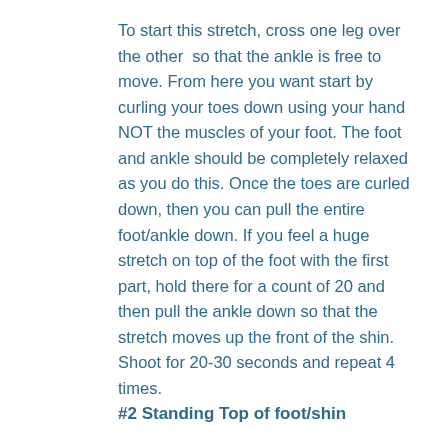To start this stretch, cross one leg over the other  so that the ankle is free to move. From here you want start by curling your toes down using your hand NOT the muscles of your foot. The foot and ankle should be completely relaxed as you do this. Once the toes are curled down, then you can pull the entire foot/ankle down. If you feel a huge stretch on top of the foot with the first part, hold there for a count of 20 and then pull the ankle down so that the stretch moves up the front of the shin. Shoot for 20-30 seconds and repeat 4 times.
#2 Standing Top of foot/shin